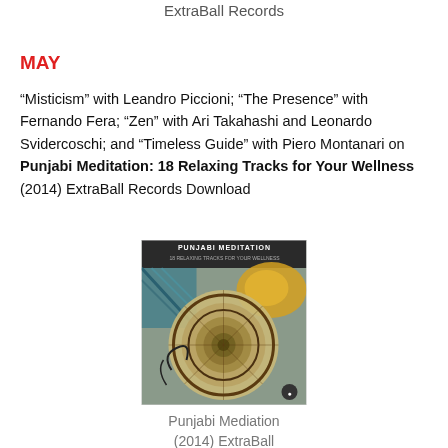ExtraBall Records
MAY
“Misticism” with Leandro Piccioni; “The Presence” with Fernando Fera; “Zen” with Ari Takahashi and Leonardo Svidercoschi; and “Timeless Guide” with Piero Montanari on Punjabi Meditation: 18 Relaxing Tracks for Your Wellness (2014) ExtraBall Records Download
[Figure (photo): Album cover for Punjabi Meditation: 18 Relaxing Tracks for Your Wellness (2014) ExtraBall Records. Features a decorative circular mandala-like design in teal, gold, and black on a grey background with the title text at the top.]
Punjabi Mediation
(2014) ExtraBall